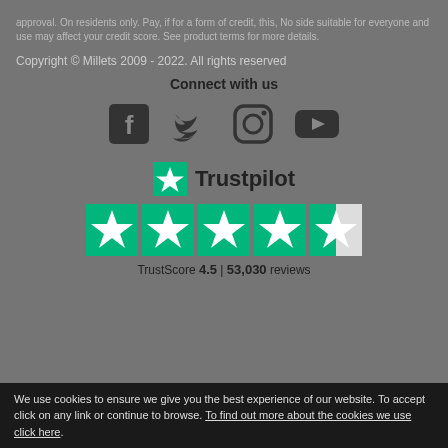approval. On residents only. Pay, if for a form of credit, this, No side suitable for everyone and use may affect your credit score. See product terms for more details.
Copyright © Millets 2009 - 2022. All rights reserved
Connect with us
[Figure (illustration): Social media icons: Facebook, Twitter, Instagram, YouTube]
[Figure (logo): Trustpilot logo with green star and text 'Trustpilot', followed by 4.5 star rating display, TrustScore 4.5 | 53,030 reviews]
TrustScore 4.5 | 53,030 reviews
We use cookies to ensure we give you the best experience of our website. To accept click on any link or continue to browse. To find out more about the cookies we use click here.